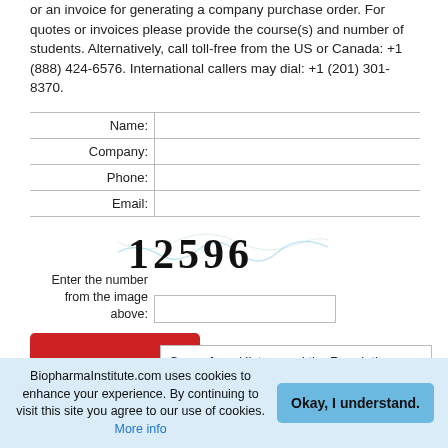or an invoice for generating a company purchase order. For quotes or invoices please provide the course(s) and number of students. Alternatively, call toll-free from the US or Canada: +1 (888) 424-6576. International callers may dial: +1 (201) 301-8370.
| Label | Input |
| --- | --- |
| Name: |  |
| Company: |  |
| Phone: |  |
| Email: |  |
[Figure (other): CAPTCHA image showing the number 12596 in bold stylized font with wavy decorative lines]
Enter the number from the image above:
Cases from History and the Regulations
Back to Top
BiopharmaInstitute.com uses cookies to enhance your experience. By continuing to visit this site you agree to our use of cookies. More info